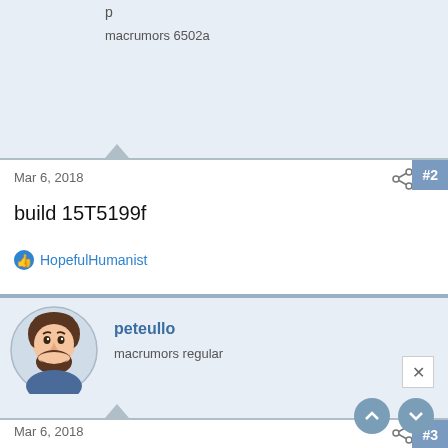[Figure (photo): User avatar: circular coin-style monogram with letter G]
macrumors 6502a
Mar 6, 2018
#2
build 15T5199f
HopefulHumanist
[Figure (photo): User avatar: 3D cartoon male face with beard, Memoji style]
peteullo
macrumors regular
Mar 6, 2018
#3
Can you control HomePod with this version?
I'm a little spoiled by the new AirPlay controls on iOS and Mac.